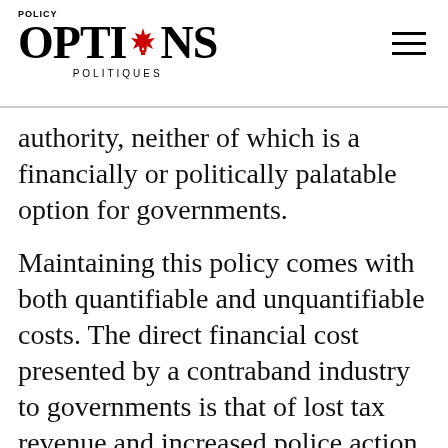POLICY OPTIONS POLITIQUES
authority, neither of which is a financially or politically palatable option for governments.
Maintaining this policy comes with both quantifiable and unquantifiable costs. The direct financial cost presented by a contraband industry to governments is that of lost tax revenue and increased police action. The cost to the private sector is in lost business, to both tobacco retailers and manufacturers. These can all be, and have been, measured.
There is also an opportunity cost, more difficult to quantify, but still an important